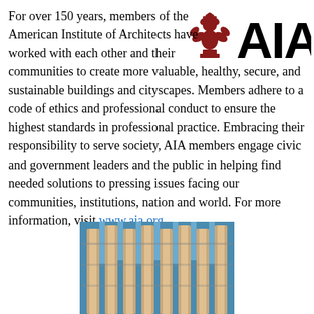For over 150 years, members of the American Institute of Architects have worked with each other and their communities to create more valuable, healthy, secure, and sustainable buildings and cityscapes. Members adhere to a code of ethics and professional conduct to ensure the highest standards in professional practice. Embracing their responsibility to serve society, AIA members engage civic and government leaders and the public in helping find needed solutions to pressing issues facing our communities, institutions, nation and world. For more information, visit www.aia.org.
[Figure (logo): AIA (American Institute of Architects) logo with red thistle emblem and bold AIA text]
[Figure (photo): Photograph of a modern building facade with vertical architectural elements against a blue sky]